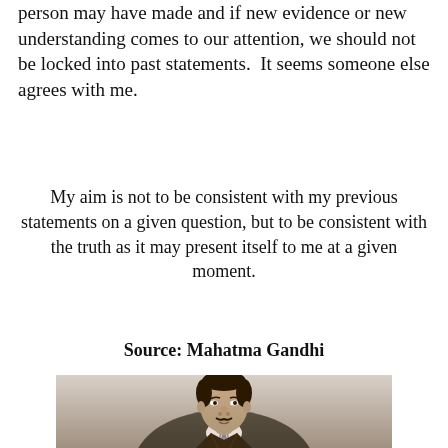person may have made and if new evidence or new understanding comes to our attention, we should not be locked into past statements.  It seems someone else agrees with me.
My aim is not to be consistent with my previous statements on a given question, but to be consistent with the truth as it may present itself to me at a given moment.
Source: Mahatma Gandhi
[Figure (photo): Black and white portrait photograph of Mahatma Gandhi as a young man, wearing a suit and tie, looking slightly upward and to the side.]